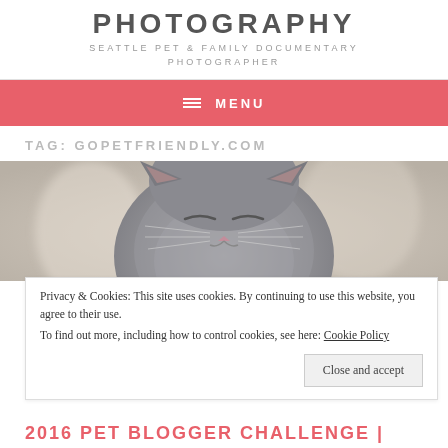PHOTOGRAPHY
SEATTLE PET & FAMILY DOCUMENTARY PHOTOGRAPHER
≡ MENU
TAG: GOPETFRIENDLY.COM
[Figure (photo): Close-up photo of a grey kitten with eyes closed, blurred background]
Privacy & Cookies: This site uses cookies. By continuing to use this website, you agree to their use.
To find out more, including how to control cookies, see here: Cookie Policy
Close and accept
2016 PET BLOGGER CHALLENGE |